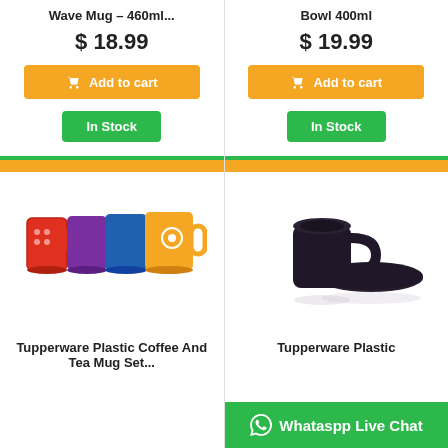Wave Mug – 460ml...
$ 18.99
Add to cart
In Stock
Bowl 400ml
$ 19.99
Add to cart
In Stock
[Figure (photo): Colorful Tupperware plastic coffee and tea mugs set in red, purple, blue, and orange colors]
Tupperware Plastic Coffee And Tea Mug Set...
[Figure (photo): Tupperware plastic black mug with matching black plate/saucer]
Tupperware Plastic
Whataspp Live Chat